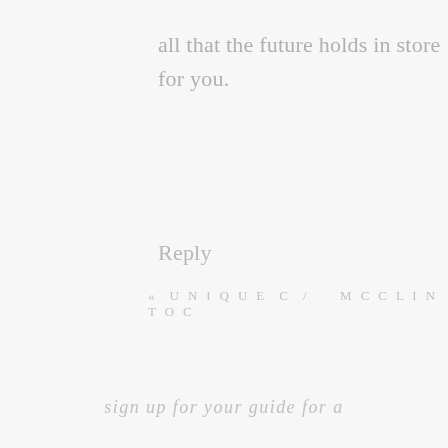all that the future holds in store for you.
Reply
« UNIQUE C  /   MCCLINTOC
sign up for your guide for a